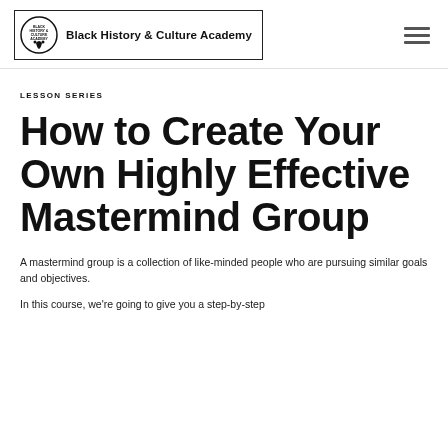Black History & Culture Academy
LESSON SERIES
How to Create Your Own Highly Effective Mastermind Group
A mastermind group is a collection of like-minded people who are pursuing similar goals and objectives.
In this course, we're going to give you a step-by-step